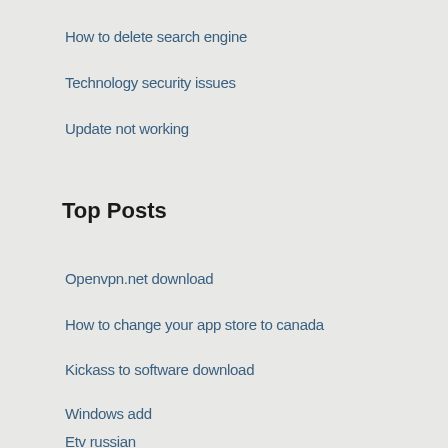How to delete search engine
Technology security issues
Update not working
Top Posts
Openvpn.net download
How to change your app store to canada
Kickass to software download
Windows add
Etv russian